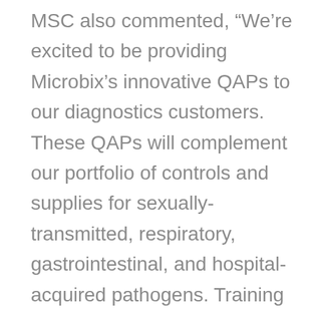MSC also commented, “We’re excited to be providing Microbix’s innovative QAPs to our diagnostics customers. These QAPs will complement our portfolio of controls and supplies for sexually-transmitted, respiratory, gastrointestinal, and hospital-acquired pathogens. Training of MSC staff about QAPs is underway and we’re now stocking these products for our customers.”